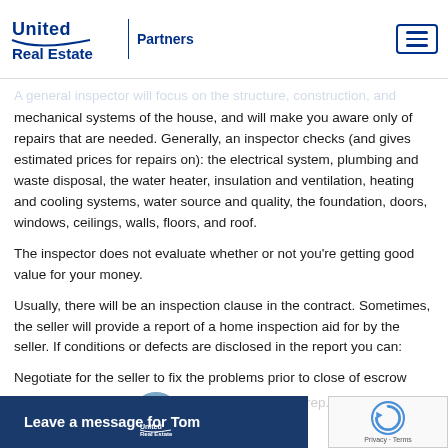United Real Estate Partners
A general inspector will focus on the structure, construction, and mechanical systems of the house, and will make you aware only of repairs that are needed. Generally, an inspector checks (and gives estimated prices for repairs on): the electrical system, plumbing and waste disposal, the water heater, insulation and ventilation, heating and cooling systems, water source and quality, the foundation, doors, windows, ceilings, walls, floors, and roof.
The inspector does not evaluate whether or not you're getting good value for your money.
Usually, there will be an inspection clause in the contract. Sometimes, the seller will provide a report of a home inspection aid for by the seller. If conditions or defects are disclosed in the report you can:
Negotiate for the seller to fix the problems prior to close of escrow
Receive a credit from the seller for an amount to cover repairs
Cancel ... repairs